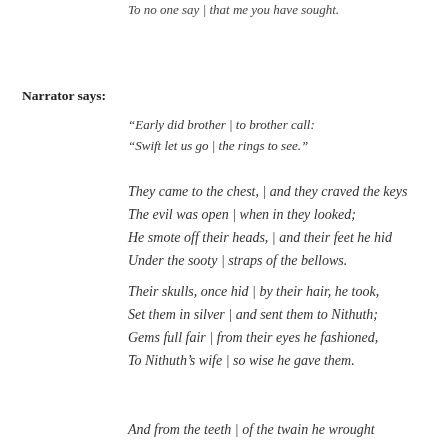To no one say | that me you have sought.
Narrator says:
“Early did brother | to brother call:
“Swift let us go | the rings to see.”
They came to the chest, | and they craved the keys
The evil was open | when in they looked;
He smote off their heads, | and their feet he hid
Under the sooty | straps of the bellows.
Their skulls, once hid | by their hair, he took,
Set them in silver | and sent them to Nithuth;
Gems full fair | from their eyes he fashioned,
To Nithuth’s wife | so wise he gave them.
And from the teeth | of the twain he wrought